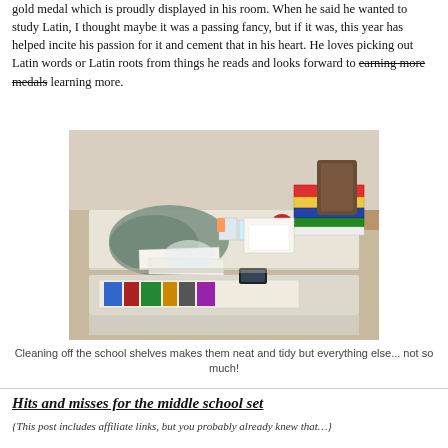gold medal which is proudly displayed in his room. When he said he wanted to study Latin, I thought maybe it was a passing fancy, but if it was, this year has helped incite his passion for it and cement that in his heart. He loves picking out Latin words or Latin roots from things he reads and looks forward to [strikethrough: earning more medals] learning more.
[Figure (photo): A cluttered white desk covered with books, papers, bags, and school supplies piled on top and on shelves below]
Cleaning off the school shelves makes them neat and tidy but everything else... not so much!
Hits and misses for the middle school set
{This post includes affiliate links, but you probably already knew that…}